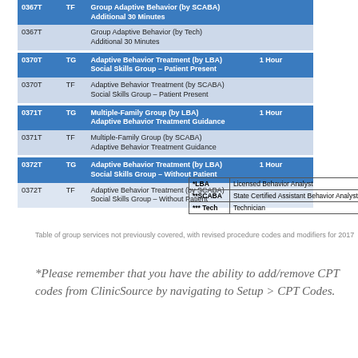| Code | Mod | Description | Unit |
| --- | --- | --- | --- |
| 0367T | TF | Group Adaptive Behavior (by SCABA) Additional 30 Minutes |  |
| 0367T |  | Group Adaptive Behavior (by Tech) Additional 30 Minutes |  |
| 0370T | TG | Adaptive Behavior Treatment (by LBA) Social Skills Group – Patient Present | 1 Hour |
| 0370T | TF | Adaptive Behavior Treatment (by SCABA) Social Skills Group – Patient Present |  |
| 0371T | TG | Multiple-Family Group (by LBA) Adaptive Behavior Treatment Guidance | 1 Hour |
| 0371T | TF | Multiple-Family Group (by SCABA) Adaptive Behavior Treatment Guidance |  |
| 0372T | TG | Adaptive Behavior Treatment (by LBA) Social Skills Group – Without Patient | 1 Hour |
| 0372T | TF | Adaptive Behavior Treatment (by SCABA) Social Skills Group – Without Patient |  |
| Abbreviation | Meaning |
| --- | --- |
| *LBA | Licensed Behavior Analyst |
| **SCABA | State Certified Assistant Behavior Analyst |
| *** Tech | Technician |
Table of group services not previously covered, with revised procedure codes and modifiers for 2017
*Please remember that you have the ability to add/remove CPT codes from ClinicSource by navigating to Setup > CPT Codes.